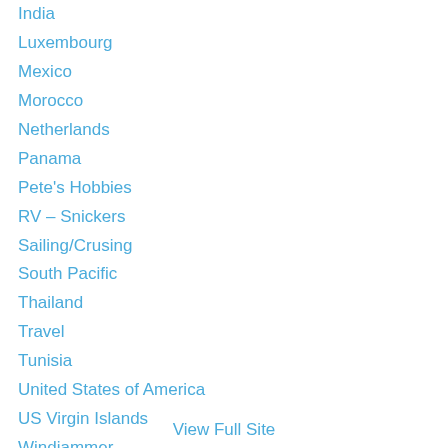India
Luxembourg
Mexico
Morocco
Netherlands
Panama
Pete's Hobbies
RV – Snickers
Sailing/Crusing
South Pacific
Thailand
Travel
Tunisia
United States of America
US Virgin Islands
Windjammer
View Full Site